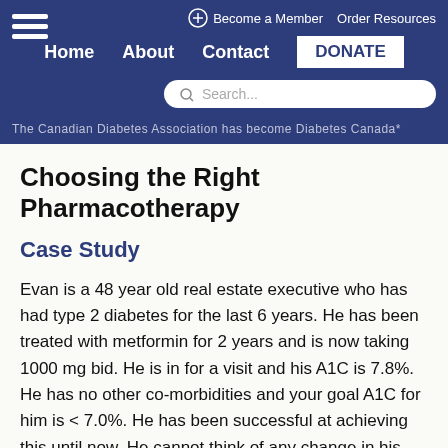Become a Member   Order Resources   Home   About   Contact   DONATE
The Canadian Diabetes Association has become Diabetes Canada*
Choosing the Right Pharmacotherapy
Case Study
Evan is a 48 year old real estate executive who has had type 2 diabetes for the last 6 years. He has been treated with metformin for 2 years and is now taking 1000 mg bid. He is in for a visit and his A1C is 7.8%. He has no other co-morbidities and your goal A1C for him is < 7.0%. He has been successful at achieving this until now. He cannot think of any change in his lifestyle behaviour that could account